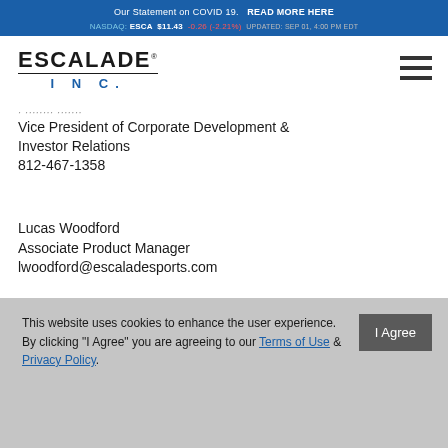Our Statement on COVID 19. READ MORE HERE
NASDAQ: ESCA $11.43 -0.26 (-2.21%) UPDATED: SEP 01, 4:00 PM EDT
[Figure (logo): Escalade Inc. logo with bold black ESCALADE text and blue INC. text below]
Vice President of Corporate Development & Investor Relations
812-467-1358
Lucas Woodford
Associate Product Manager
lwoodford@escaladesports.com
*For full report download PDF
This website uses cookies to enhance the user experience. By clicking "I Agree" you are agreeing to our Terms of Use & Privacy Policy.